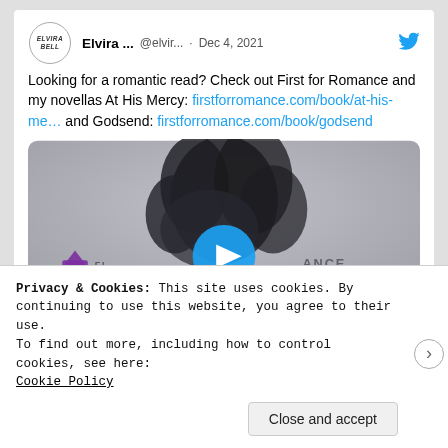[Figure (screenshot): Tweet by Elvira Bell (@elvir...) dated Dec 4, 2021 with Twitter bird icon. Text: Looking for a romantic read? Check out First for Romance and my novellas At His Mercy: firstforromance.com/book/at-his-me… and Godsend: firstforromance.com/book/godsend. Below the text is a video thumbnail showing a dark floral image with the First for Romance logo and a blue play button circle.]
Privacy & Cookies: This site uses cookies. By continuing to use this website, you agree to their use.
To find out more, including how to control cookies, see here:
Cookie Policy
Close and accept